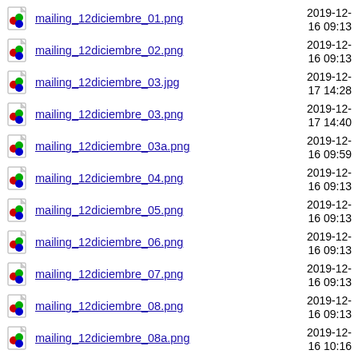mailing_12diciembre_01.png  2019-12-16 09:13
mailing_12diciembre_02.png  2019-12-16 09:13
mailing_12diciembre_03.jpg  2019-12-17 14:28
mailing_12diciembre_03.png  2019-12-17 14:40
mailing_12diciembre_03a.png  2019-12-16 09:59
mailing_12diciembre_04.png  2019-12-16 09:13
mailing_12diciembre_05.png  2019-12-16 09:13
mailing_12diciembre_06.png  2019-12-16 09:13
mailing_12diciembre_07.png  2019-12-16 09:13
mailing_12diciembre_08.png  2019-12-16 09:13
mailing_12diciembre_08a.png  2019-12-16 10:16